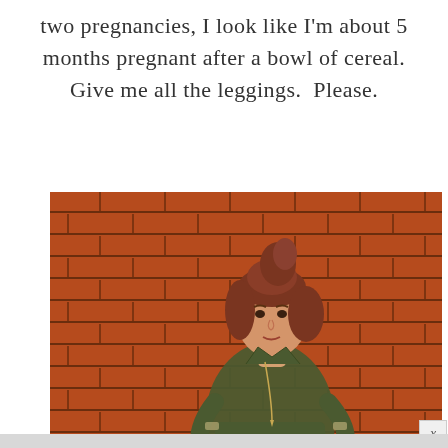two pregnancies, I look like I'm about 5 months pregnant after a bowl of cereal. Give me all the leggings.  Please.
[Figure (photo): A woman with auburn hair styled up, wearing an olive green button-up shirt and a long necklace, standing with one hand on her hip in front of a red brick wall.]